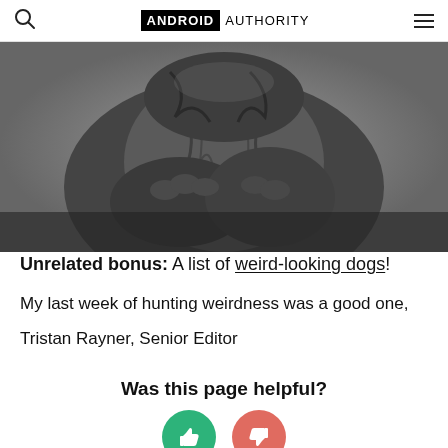ANDROID AUTHORITY
[Figure (photo): Black and white close-up photo of a wrinkly dog face, likely a Shar Pei or Bloodhound, covering its face with its paws/wrinkled skin]
Unrelated bonus: A list of weird-looking dogs!
My last week of hunting weirdness was a good one,
Tristan Rayner, Senior Editor
Was this page helpful?